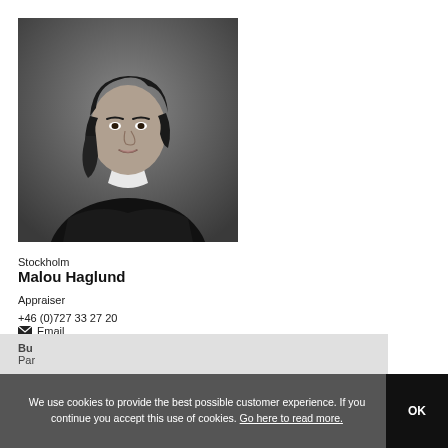[Figure (photo): Black and white professional headshot of Malou Haglund, a woman with dark hair wearing a dark blazer with arms crossed, against a dark grey background.]
Stockholm
Malou Haglund
Appraiser
+46 (0)727 33 27 20
✉ Email
We use cookies to provide the best possible customer experience. If you continue you accept this use of cookies. Go here to read more.
OK